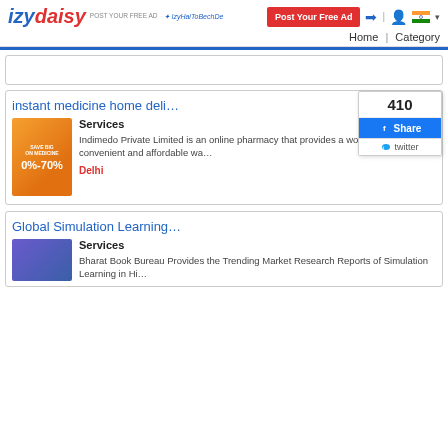Post Your Free Ad | Home | Category — izydaisy website header
instant medicine home deli…
Services
Indimedo Private Limited is an online pharmacy that provides a worry free, convenient and affordable wa…
Delhi
410
Share
twitter
Global Simulation Learning…
Services
Bharat Book Bureau Provides the Trending Market Research Reports of Simulation Learning in Hi…